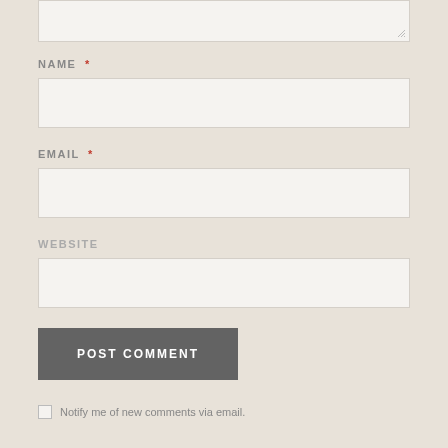[Figure (screenshot): Comment form textarea (top portion visible, with resize handle)]
NAME *
[Figure (screenshot): Name input field (empty text input)]
EMAIL *
[Figure (screenshot): Email input field (empty text input)]
WEBSITE
[Figure (screenshot): Website input field (empty text input)]
POST COMMENT
Notify me of new comments via email.